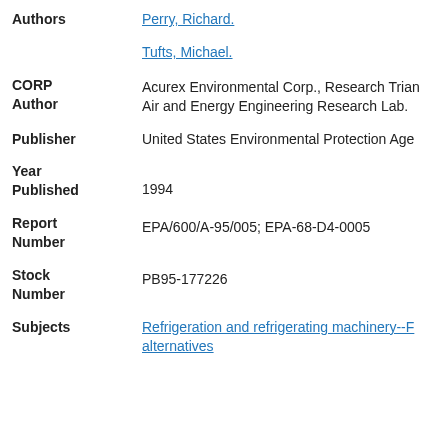Authors: Perry, Richard. / Tufts, Michael.
CORP Author: Acurex Environmental Corp., Research Triangle Park; Air and Energy Engineering Research Lab.
Publisher: United States Environmental Protection Agency
Year Published: 1994
Report Number: EPA/600/A-95/005; EPA-68-D4-0005
Stock Number: PB95-177226
Subjects: Refrigeration and refrigerating machinery--F... alternatives